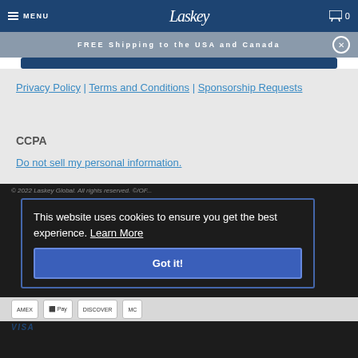MENU | Laskey | 0
FREE Shipping to the USA and Canada
Privacy Policy | Terms and Conditions | Sponsorship Requests
CCPA
Do not sell my personal information.
© 2022 Laskey Global. All rights reserved. ©/OF...
This website uses cookies to ensure you get the best experience. Learn More
Got it!